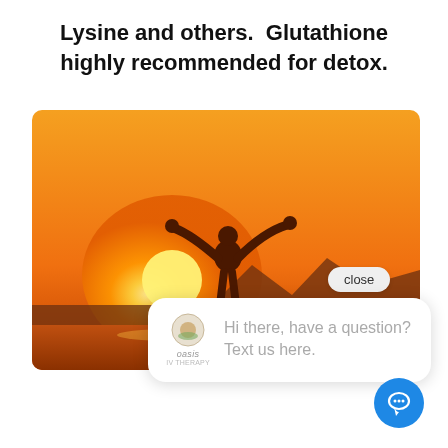Lysine and others.  Glutathione highly recommended for detox.
[Figure (photo): Person silhouetted against a bright orange sunset with arms raised wide, standing on a shoreline with mountains in the background.]
close
Hi there, have a question? Text us here.